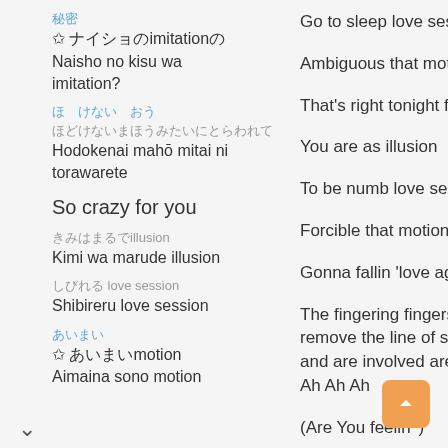秘密 ナイショのkisu wa imitation？
Naisho no kisu wa imitation?
ほどけない まほう みたい に
ほどけないまほうみたいにとらわれて
Hodokenai mahō mitai ni torawarete
So crazy for you
きみはまるでillusion
Kimi wa marude illusion
しびれる love session
Shibireru love session
あいまい
あ あいまいmotion
Aimaina sono motion
Go to sleep love session
Ambiguous that motion
That's right tonight fiction
You are as illusion
To be numb love session
Forcible that motion
Gonna fallin 'love again
The fingering fingers who remove the line of sight and are involved are Ah Ah Ah Ah
(Are You feelin ')